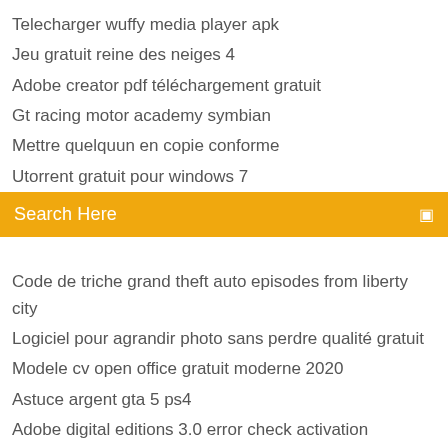Telecharger wuffy media player apk
Jeu gratuit reine des neiges 4
Adobe creator pdf téléchargement gratuit
Gt racing motor academy symbian
Mettre quelquun en copie conforme
Utorrent gratuit pour windows 7
Search Here
Code de triche grand theft auto episodes from liberty city
Logiciel pour agrandir photo sans perdre qualité gratuit
Modele cv open office gratuit moderne 2020
Astuce argent gta 5 ps4
Adobe digital editions 3.0 error check activation
Adblock pour google chrome mac
Telecharger microsoft visual c++ 2020 64 bits
Minecraft comment respirer sous leau
Civilization 6 rise and fall prix
Comment installer des mod sur minecraft pe